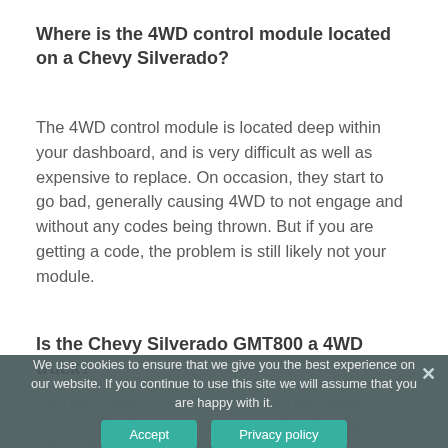Where is the 4WD control module located on a Chevy Silverado?
The 4WD control module is located deep within your dashboard, and is very difficult as well as expensive to replace. On occasion, they start to go bad, generally causing 4WD to not engage and without any codes being thrown. But if you are getting a code, the problem is still likely not your module.
Is the Chevy Silverado GMT800 a 4WD truck?
We use cookies to ensure that we give you the best experience on our website. If you continue to use this site we will assume that you are happy with it.